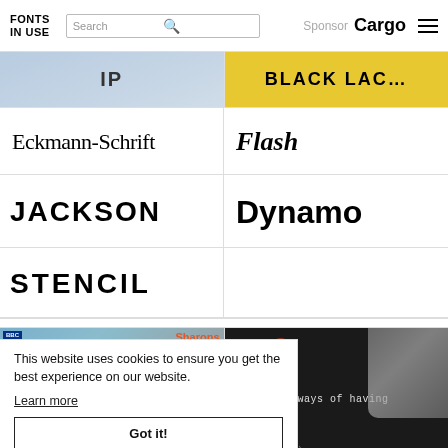FONTS IN USE — Search bar with Sponsor: Cargo
[Figure (screenshot): Top image strip: left side shows partial image with IP text, right side shows yellow background with BLACK text]
Eckmann-Schrift
Flash
JACKSON
Dynamo
STENCIL
[Figure (photo): Album cover: A Little of What You Fancy From Shag Connor & The Carrot Crunchers — red/orange bold text on blue/photo background]
[Figure (photo): Book/album cover: 72 sure-fire ways of having Fun (The life of the party) — orange script on dark background with laughing woman photo]
This website uses cookies to ensure you get the best experience on our website.
Learn more
Got it!
Gill Kayo
Hauser Script